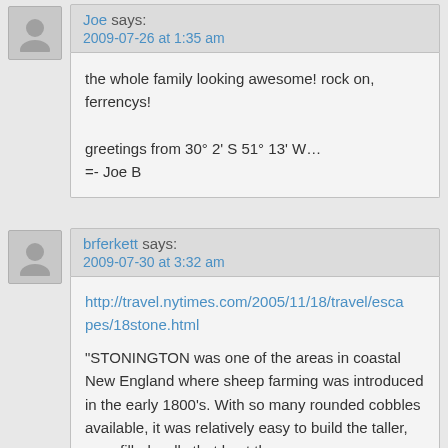Joe says:
2009-07-26 at 1:35 am
the whole family looking awesome! rock on, ferrencys!

greetings from 30° 2' S 51° 13' W...
=- Joe B
brferkett says:
2009-07-30 at 3:32 am
http://travel.nytimes.com/2005/11/18/travel/escapes/18stone.html

"STONINGTON was one of the areas in coastal New England where sheep farming was introduced in the early 1800's. With so many rounded cobbles available, it was relatively easy to build the taller, pore-filled walls that kept the